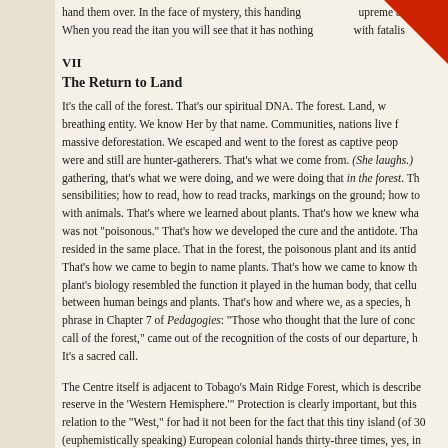hand them over. In the face of mystery, this handing over is the supreme act of... When you read the itan you will see that it has nothing to do with fatalis...
VII
The Return to Land
It's the call of the forest. That's our spiritual DNA. The forest. Land, w... breathing entity. We know Her by that name. Communities, nations live... massive deforestation. We escaped and went to the forest as captive peop... were and still are hunter-gatherers. That's what we come from. (She laughs.) gathering, that's what we were doing, and we were doing that in the forest. Th... sensibilities; how to read, how to read tracks, markings on the ground; how to... with animals. That's where we learned about plants. That's how we knew wha... was not "poisonous." That's how we developed the cure and the antidote. Tha... resided in the same place. That in the forest, the poisonous plant and its antid... That's how we came to begin to name plants. That's how we came to know th... plant's biology resembled the function it played in the human body, that cellu... between human beings and plants. That's how and where we, as a species, h... phrase in Chapter 7 of Pedagogies: "Those who thought that the lure of conc... call of the forest," came out of the recognition of the costs of our departure, h... It's a sacred call.
The Centre itself is adjacent to Tobago's Main Ridge Forest, which is describe... reserve in the 'Western Hemisphere.'" Protection is clearly important, but this... relation to the "West," for had it not been for the fact that this tiny island (of 30... (euphemistically speaking) European colonial hands thirty-three times, yes, in...